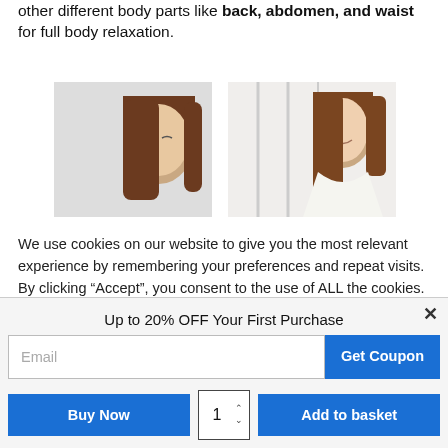other different body parts like back, abdomen, and waist for full body relaxation.
[Figure (photo): Two photos of young women, one with eyes cast down and one smiling, likely product lifestyle images]
We use cookies on our website to give you the most relevant experience by remembering your preferences and repeat visits. By clicking “Accept”, you consent to the use of ALL the cookies.
Cookie settings  ACCEPT
Up to 20% OFF Your First Purchase
Email  Get Coupon
Buy Now  1  Add to basket